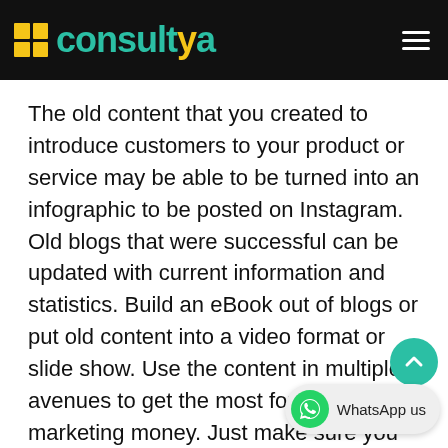consultya
The old content that you created to introduce customers to your product or service may be able to be turned into an infographic to be posted on Instagram. Old blogs that were successful can be updated with current information and statistics. Build an eBook out of blogs or put old content into a video format or slide show. Use the content in multiple avenues to get the most for your marketing money. Just make sure you remodel the content appropriately for each platform.